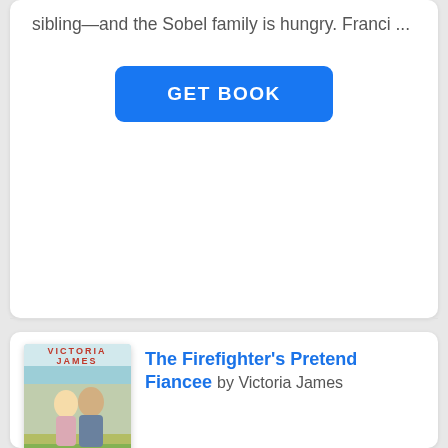sibling—and the Sobel family is hungry. Franci ...
GET BOOK
[Figure (illustration): Book cover for The Firefighter's Pretend Fiancee by Victoria James, showing a romantic cover with a couple]
The Firefighter's Pretend Fiancee by Victoria James
Leaving Shadow Creek nine years ago was the hardest thing Molly Mayberry's ever had to do...except maybe returning. She's never regretted her choice, but a chance of a lifetime position at the local hospital means going b...